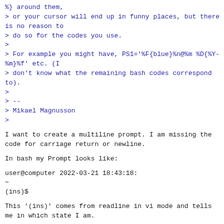%} around them,
> or your cursor will end up in funny places, but there is no reason to
> do so for the codes you use.
>
> For example you might have, PS1='%F{blue}%n@%m %D{%Y-%m}%f' etc. (I
> don't know what the remaining bash codes correspond to).
>
> --
> Mikael Magnusson
>
I want to create a multiline prompt. I am missing the code for carriage return or newline.
In bash my Prompt looks like:
user@computer 2022-03-21 18:43:18:
~
(ins)$
This '(ins)' comes from readline in vi mode and tells me in which state I am.
How can I create a newline in PS1?
Regards.